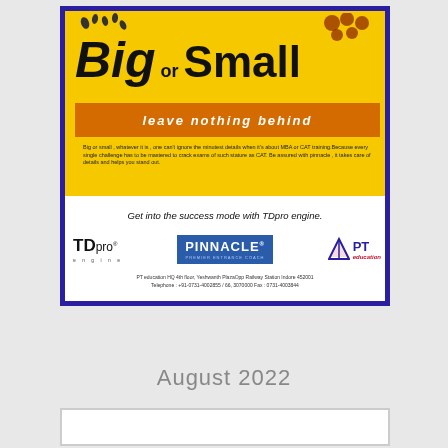[Figure (illustration): Advertisement for PT education / Pinnacle coaching with TDpro engine. Yellow top section with 'Big or Small leave nothing behind' text, logos for TDpro engine, Pinnacle, and PT education. Contact details: PT education HQ 4th floor, Yeshwanth Plaza Opp Railway Station Indore 452001. Telephone: +91-0731-4002855/66, 3070000 Fax: 0731-4003844]
August 2022